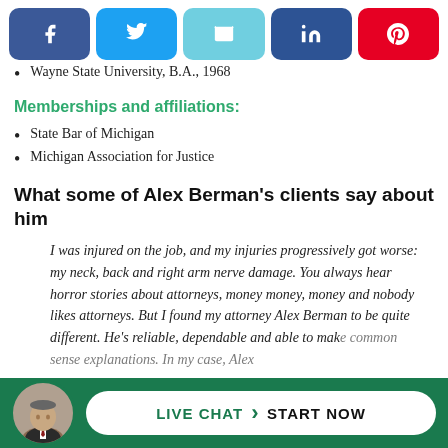[Figure (other): Social media share buttons: Facebook, Twitter, Email, LinkedIn, Pinterest]
Wayne State University, B.A., 1968
Memberships and affiliations:
State Bar of Michigan
Michigan Association for Justice
What some of Alex Berman's clients say about him
I was injured on the job, and my injuries progressively got worse: my neck, back and right arm nerve damage. You always hear horror stories about attorneys, money money, money and nobody likes attorneys. But I found my attorney Alex Berman to be quite different. He's reliable, dependable and able to make common sense explanations. In my case, Alex
[Figure (other): Live chat widget with attorney photo avatar, button reading LIVE CHAT > START NOW on green background bar]